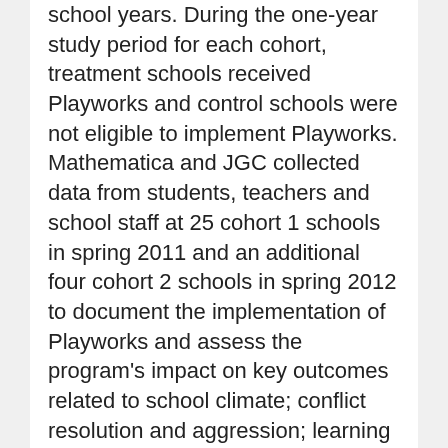school years. During the one-year study period for each cohort, treatment schools received Playworks and control schools were not eligible to implement Playworks. Mathematica and JGC collected data from students, teachers and school staff at 25 cohort 1 schools in spring 2011 and an additional four cohort 2 schools in spring 2012 to document the implementation of Playworks and assess the program's impact on key outcomes related to school climate; conflict resolution and aggression; learning and academic performance; youth development; student behavior; and play, physical activity and recess. Data collection